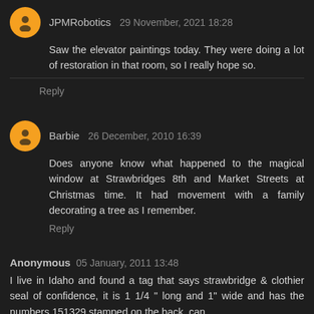JPMRobotics 29 November, 2021 18:28
Saw the elevator paintings today. They were doing a lot of restoration in that room, so I really hope so.
Reply
Barbie 26 December, 2010 16:39
Does anyone know what happened to the magical window at Strawbridges 8th and Market Streets at Christmas time. It had movement with a family decorating a tree as I remember.
Reply
Anonymous 05 January, 2011 13:48
I live in Idaho and found a tag that says strawbridge & clothier seal of confidence, it is 1 1/4 " long and 1" wide and has the numbers 151329 stamped on the back. can